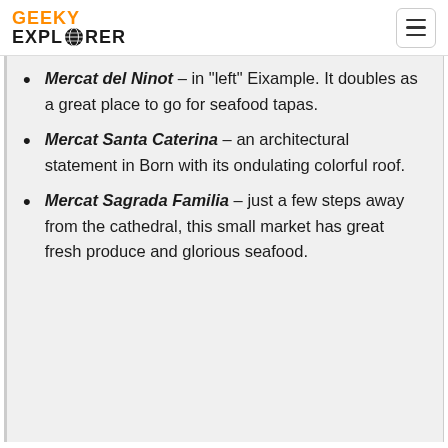GEEKY EXPLORER
Mercat del Ninot – in “left” Eixample. It doubles as a great place to go for seafood tapas.
Mercat Santa Caterina – an architectural statement in Born with its ondulating colorful roof.
Mercat Sagrada Familia – just a few steps away from the cathedral, this small market has great fresh produce and glorious seafood.